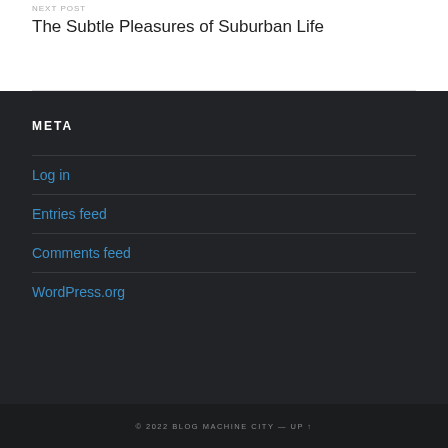NEXT POST
The Subtle Pleasures of Suburban Life
META
Log in
Entries feed
Comments feed
WordPress.org
© 2022 BLOG MACHINE CITY — UP ↑